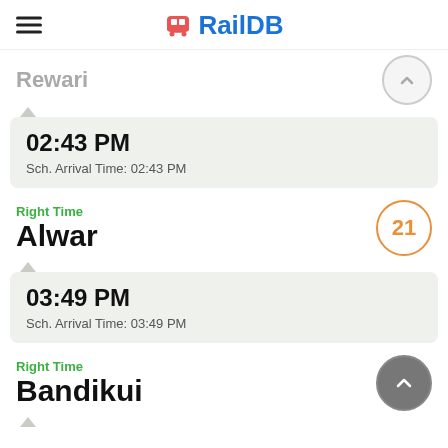RailDB
02:43 PM
Sch. Arrival Time: 02:43 PM
Right Time
Alwar
21
03:49 PM
Sch. Arrival Time: 03:49 PM
Right Time
Bandikui